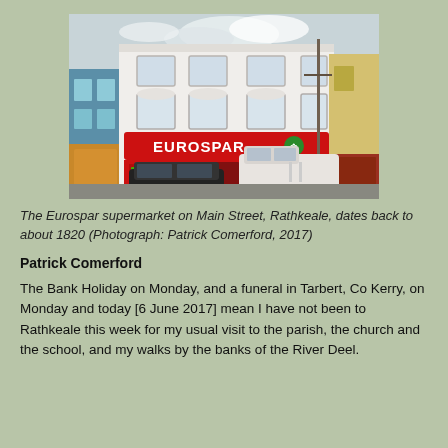[Figure (photo): Photograph of the Eurospar supermarket on Main Street, Rathkeale. A three-storey white building with a red Eurospar fascia sign on the ground floor. Two cars parked in front. Adjacent colourful buildings visible on left and right.]
The Eurospar supermarket on Main Street, Rathkeale, dates back to about 1820 (Photograph: Patrick Comerford, 2017)
Patrick Comerford
The Bank Holiday on Monday, and a funeral in Tarbert, Co Kerry, on Monday and today [6 June 2017] mean I have not been to Rathkeale this week for my usual visit to the parish, the church and the school, and my walks by the banks of the River Deel.